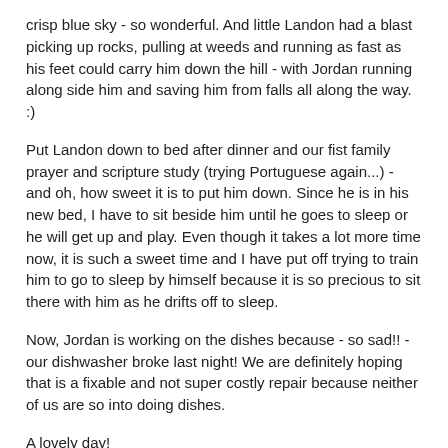crisp blue sky - so wonderful. And little Landon had a blast picking up rocks, pulling at weeds and running as fast as his feet could carry him down the hill - with Jordan running along side him and saving him from falls all along the way. :)
Put Landon down to bed after dinner and our fist family prayer and scripture study (trying Portuguese again...) - and oh, how sweet it is to put him down. Since he is in his new bed, I have to sit beside him until he goes to sleep or he will get up and play. Even though it takes a lot more time now, it is such a sweet time and I have put off trying to train him to go to sleep by himself because it is so precious to sit there with him as he drifts off to sleep.
Now, Jordan is working on the dishes because - so sad!! - our dishwasher broke last night! We are definitely hoping that is a fixable and not super costly repair because neither of us are so into doing dishes.
A lovely day!